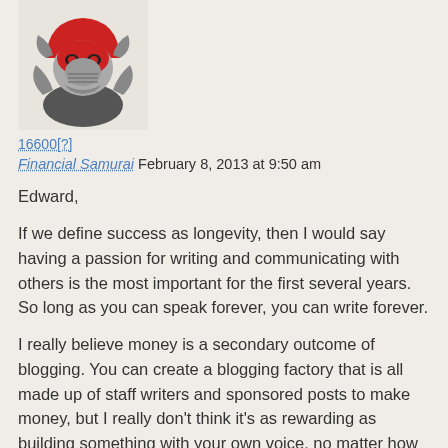[Figure (illustration): Samurai warrior cartoon avatar in red and grey armor with helmet]
16600[?]
Financial Samurai February 8, 2013 at 9:50 am
Edward,

If we define success as longevity, then I would say having a passion for writing and communicating with others is the most important for the first several years. So long as you can speak forever, you can write forever.

I really believe money is a secondary outcome of blogging. You can create a blogging factory that is all made up of staff writers and sponsored posts to make money, but I really don't think it's as rewarding as building something with your own voice, no matter how much you make within reason.

At the end of the day, you want to be proud of the work you've created. Buying your way to success feels empty. Having a blog for the main purpose of